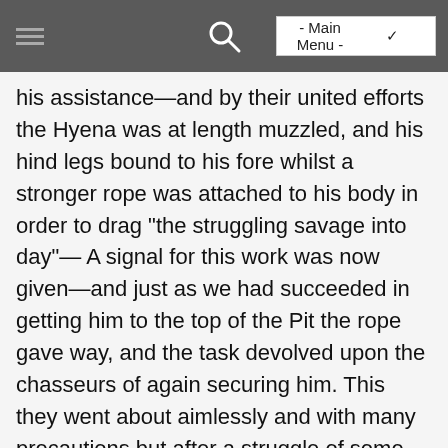- Main Menu -
his assistance—and by their united efforts the Hyena was at length muzzled, and his hind legs bound to his fore whilst a stronger rope was attached to his body in order to drag "the struggling savage into day"— A signal for this work was now given—and just as we had succeeded in getting him to the top of the Pit the rope gave way, and the task devolved upon the chasseurs of again securing him. This they went about aimlessly and with many precautions but after a struggle of some minutes the terrific anim monster was again hawled up foaming and mad with rage—his exertions snapped the muzzle when he seized this crow bar between his legs and strange to say bit it so savagely as to indent the iron and tear out one of his thighs by the roots.